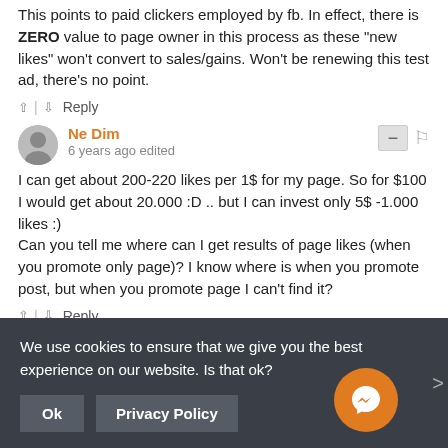This points to paid clickers employed by fb. In effect, there is ZERO value to page owner in this process as these "new likes" won't convert to sales/gains. Won't be renewing this test ad, there's no point.
↑ | ↓ Reply
Ne Dim
6 years ago edited
I can get about 200-220 likes per 1$ for my page. So for $100 I would get about 20.000 :D .. but I can invest only 5$ -1.000 likes :)
Can you tell me where can I get results of page likes (when you promote only page)? I know where is when you promote post, but when you promote page I can't find it?
↑ | ↓ Reply
Jasm Z
We use cookies to ensure that we give you the best experience on our website. Is that ok?
Ok    Privacy Policy